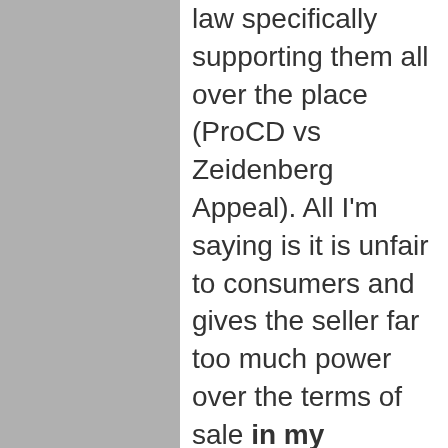law specifically supporting them all over the place (ProCD vs Zeidenberg Appeal). All I'm saying is it is unfair to consumers and gives the seller far too much power over the terms of sale in my opinion. And yes, it is the buyers problem for agreeing to it – but since pretty much all commercial software is sold this way its kind of hard to avoid.
I have posted 3 times in this thread arguing with people who claim the practice is illegal. That doesn't mean I like